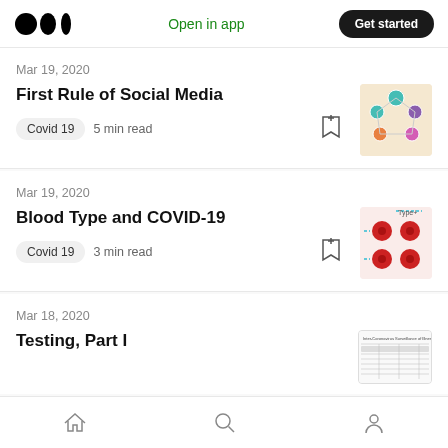Medium app header — Open in app | Get started
Mar 19, 2020
First Rule of Social Media
Covid 19  5 min read
[Figure (illustration): Thumbnail image showing network/social graph with colored circular nodes]
Mar 19, 2020
Blood Type and COVID-19
Covid 19  3 min read
[Figure (illustration): Thumbnail image showing red blood cells/coronavirus diagram with cyan arrows on peach background]
Mar 18, 2020
Testing, Part I
[Figure (table-as-image): Thumbnail of a table/chart document]
Bottom navigation: Home, Search, Profile